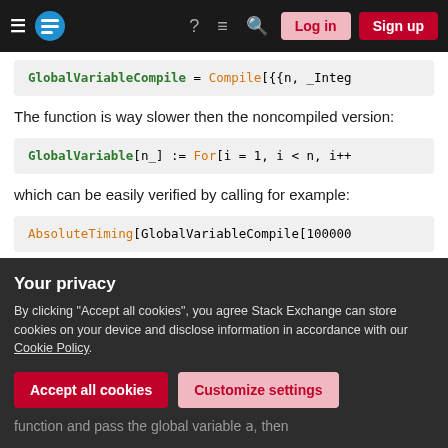Stack Exchange navigation bar with Log in and Sign up buttons
GlobalVariableCompile = Compile[{{n, _Integ
The function is way slower then the noncompiled version:
GlobalVariable[n_] := For[i = 1, i < n, i++
which can be easily verified by calling for example:
AbsoluteTiming[GlobalVariableCompile[100000
Your privacy
By clicking "Accept all cookies", you agree Stack Exchange can store cookies on your device and disclose information in accordance with our Cookie Policy.
Accept all cookies
Customize settings
function and pass the global variable a, then